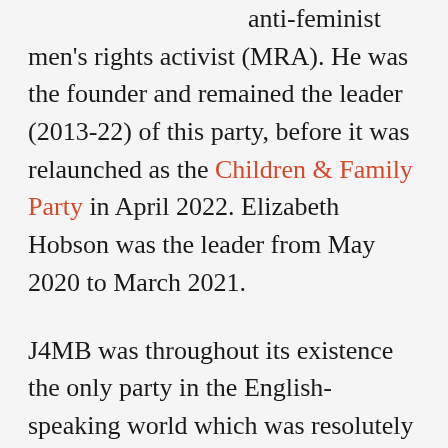anti-feminist men's rights activist (MRA). He was the founder and remained the leader (2013-22) of this party, before it was relaunched as the Children & Family Party in April 2022. Elizabeth Hobson was the leader from May 2020 to March 2021.
J4MB was throughout its existence the only party in the English-speaking world which was resolutely anti-feminist and campaigned for the human rights of men and boys on many fronts. Those rights are assaulted by states' actions and inactions in many areas, almost always to privilege women and girls. 20 such areas were